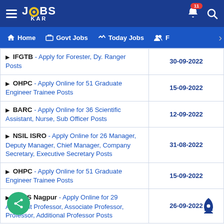JOBS KAR - Home | Govt Jobs | Today Jobs | F
| Job Listing | Date |
| --- | --- |
| IFGTB - Apply for Forester, Dy. Ranger Posts | 30-09-2022 |
| OHPC - Apply Online for 51 Graduate Engineer Trainee Posts | 15-09-2022 |
| BARC - Apply Online for 36 Scientific Assistant, Nurse, Sub Officer Posts | 12-09-2022 |
| NSIL ISRO - Apply Online for 26 Manager, Deputy Manager, Chief Manager, Company Secretary, Executive Secretary Posts | 31-08-2022 |
| OHPC - Apply Online for 51 Graduate Engineer Trainee Posts | 15-09-2022 |
| AIIMS Nagpur - Apply Online for 29 Assistant Professor, Associate Professor, Professor, Additional Professor Posts | 26-09-2022 |